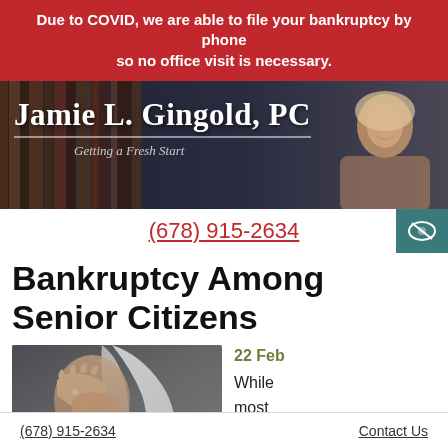Due to COVID, we are able to file your bankruptcy by phone so no office visit is necessary.
[Figure (photo): Law firm header with attorney Jamie L. Gingold and bookshelf background. Subtitle: Getting a Fresh Start]
(678) 915-2634
Bankruptcy Among Senior Citizens
[Figure (photo): Elderly woman with long grey hair covering her face with her hands in distress]
22 Feb
While most people do not
(678) 915-2634    Contact Us